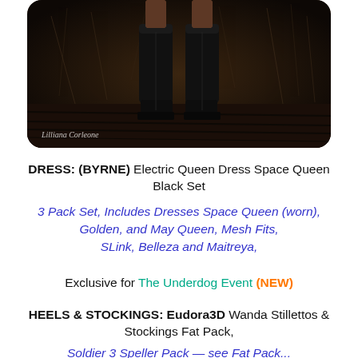[Figure (photo): Dark atmospheric photo showing lower body with tall black boots on a wooden platform, grass/reeds in background. Watermark reads 'Lilliana Corleone'.]
DRESS: (BYRNE) Electric Queen Dress Space Queen Black Set
3 Pack Set, Includes Dresses Space Queen (worn), Golden, and May Queen, Mesh Fits, SLink, Belleza and Maitreya,
Exclusive for The Underdog Event (NEW)
HEELS & STOCKINGS: Eudora3D Wanda Stillettos & Stockings Fat Pack,
Soldier 3 Speller Pack — see Fat Pack...